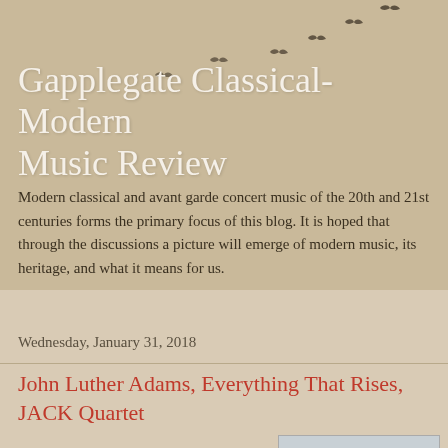Gapplegate Classical-Modern Music Review
Modern classical and avant garde concert music of the 20th and 21st centuries forms the primary focus of this blog. It is hoped that through the discussions a picture will emerge of modern music, its heritage, and what it means for us.
Wednesday, January 31, 2018
John Luther Adams, Everything That Rises, JACK Quartet
[Figure (photo): Album cover for 'everything that rises' by John Luther Adams, showing a dark bird/figure silhouette against a light grey background with small text]